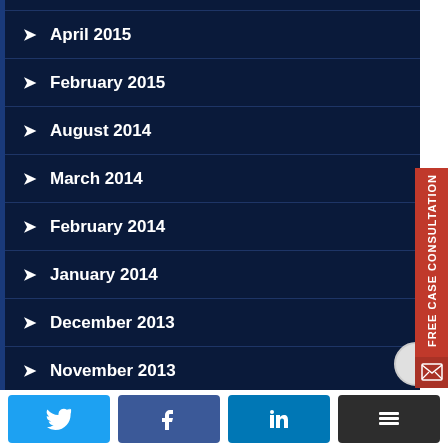April 2015
February 2015
August 2014
March 2014
February 2014
January 2014
December 2013
November 2013
May 2013
FREE CASE CONSULTATION
[Figure (infographic): Social share buttons: Twitter, Facebook, LinkedIn, Buffer]